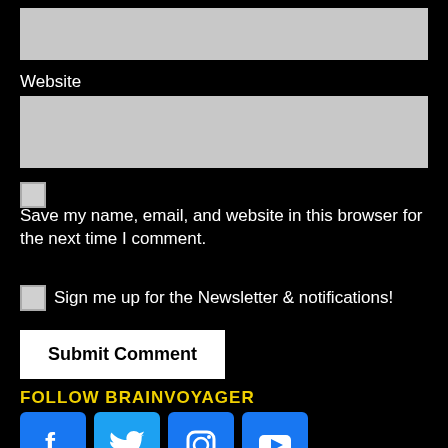[Figure (screenshot): Gray input field (text box) at top of page]
Website
[Figure (screenshot): Gray input field for Website URL]
[Figure (screenshot): Checkbox (unchecked)]
Save my name, email, and website in this browser for the next time I comment.
Sign me up for the Newsletter & notifications!
[Figure (screenshot): Submit Comment button]
FOLLOW BRAINVOYAGER
[Figure (infographic): Social media icons: Facebook, Twitter, Instagram, YouTube]